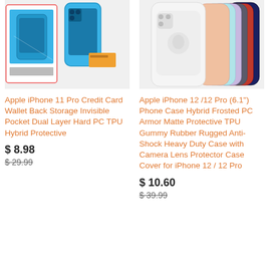[Figure (photo): Apple iPhone 11 Pro blue credit card wallet case shown in packaging and standalone]
[Figure (photo): Apple iPhone 12/12 Pro phone cases in multiple colors arranged side by side]
Apple iPhone 11 Pro Credit Card Wallet Back Storage Invisible Pocket Dual Layer Hard PC TPU Hybrid Protective
$ 8.98
$ 29.99
Apple iPhone 12 /12 Pro (6.1") Phone Case Hybrid Frosted PC Armor Matte Protective TPU Gummy Rubber Rugged Anti-Shock Heavy Duty Case with Camera Lens Protector Case Cover for iPhone 12 / 12 Pro
$ 10.60
$ 39.99